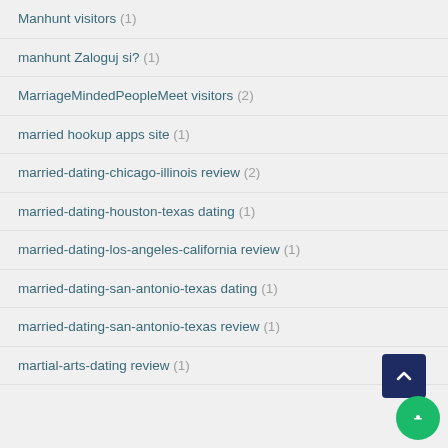Manhunt visitors (1)
manhunt Zaloguj si? (1)
MarriageMindedPeopleMeet visitors (2)
married hookup apps site (1)
married-dating-chicago-illinois review (2)
married-dating-houston-texas dating (1)
married-dating-los-angeles-california review (1)
married-dating-san-antonio-texas dating (1)
married-dating-san-antonio-texas review (1)
martial-arts-dating review (1)